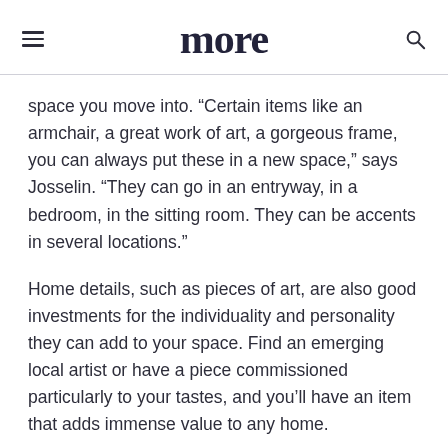more
space you move into. “Certain items like an armchair, a great work of art, a gorgeous frame, you can always put these in a new space,” says Josselin. “They can go in an entryway, in a bedroom, in the sitting room. They can be accents in several locations.”
Home details, such as pieces of art, are also good investments for the individuality and personality they can add to your space. Find an emerging local artist or have a piece commissioned particularly to your tastes, and you’ll have an item that adds immense value to any home.